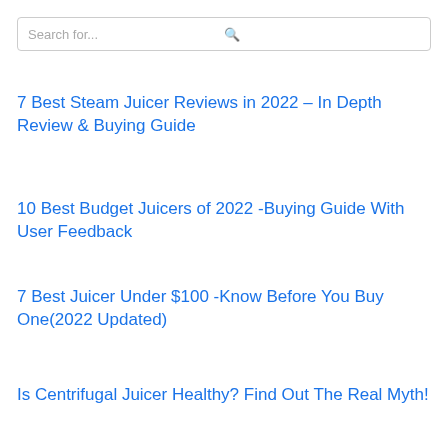Search for...
7 Best Steam Juicer Reviews in 2022 – In Depth Review & Buying Guide
10 Best Budget Juicers of 2022 -Buying Guide With User Feedback
7 Best Juicer Under $100 -Know Before You Buy One(2022 Updated)
Is Centrifugal Juicer Healthy? Find Out The Real Myth!